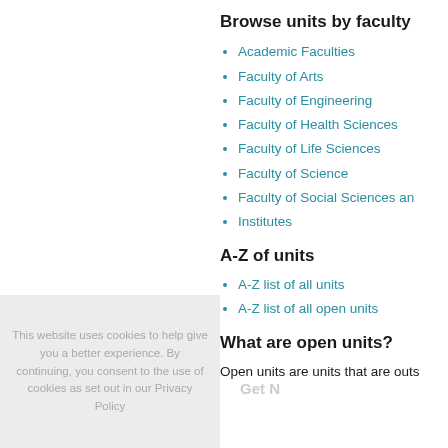Browse units by faculty
Academic Faculties
Faculty of Arts
Faculty of Engineering
Faculty of Health Sciences
Faculty of Life Sciences
Faculty of Science
Faculty of Social Sciences an
Institutes
A-Z of units
A-Z list of all units
A-Z list of all open units
What are open units?
Open units are units that are outs
This website uses cookies to help give you a better experience. By continuing, you consent to the use of cookies as set out in our Privacy Policy